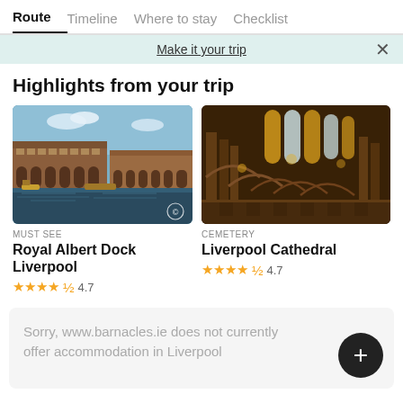Route | Timeline | Where to stay | Checklist
Make it your trip
Highlights from your trip
[Figure (photo): Royal Albert Dock Liverpool - brick warehouse buildings reflected in dock water with boats]
MUST SEE
Royal Albert Dock Liverpool
★★★★½ 4.7
[Figure (photo): Liverpool Cathedral interior - Gothic arches, stone columns, stained glass windows with warm golden lighting]
CEMETERY
Liverpool Cathedral
★★★★½ 4.7
Sorry, www.barnacles.ie does not currently offer accommodation in Liverpool